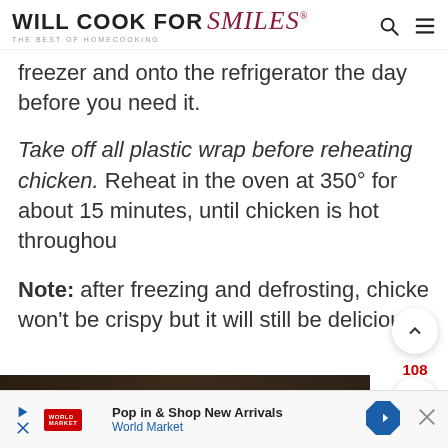WILL COOK FOR Smiles® THE BEST OF HOMECOOKING
freezer and onto the refrigerator the day before you need it.
Take off all plastic wrap before reheating chicken. Reheat in the oven at 350° for about 15 minutes, until chicken is hot throughout.
Note: after freezing and defrosting, chicken won't be crispy but it will still be delicious.
[Figure (screenshot): Dark food image strip at bottom of page]
Pop in & Shop New Arrivals World Market